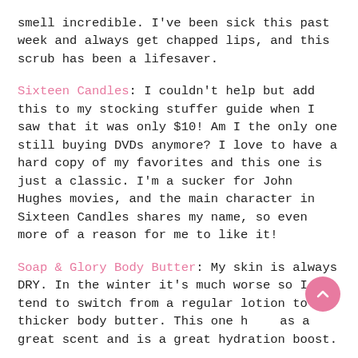smell incredible. I've been sick this past week and always get chapped lips, and this scrub has been a lifesaver.
Sixteen Candles: I couldn't help but add this to my stocking stuffer guide when I saw that it was only $10! Am I the only one still buying DVDs anymore? I love to have a hard copy of my favorites and this one is just a classic. I'm a sucker for John Hughes movies, and the main character in Sixteen Candles shares my name, so even more of a reason for me to like it!
Soap & Glory Body Butter: My skin is always DRY. In the winter it's much worse so I tend to switch from a regular lotion to a thicker body butter. This one has a great scent and is a great hydration boost.